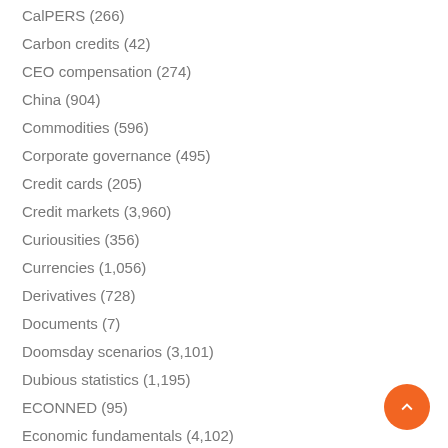CalPERS (266)
Carbon credits (42)
CEO compensation (274)
China (904)
Commodities (596)
Corporate governance (495)
Credit cards (205)
Credit markets (3,960)
Curiousities (356)
Currencies (1,056)
Derivatives (728)
Documents (7)
Doomsday scenarios (3,101)
Dubious statistics (1,195)
ECONNED (95)
Economic fundamentals (4,102)
Energy markets (983)